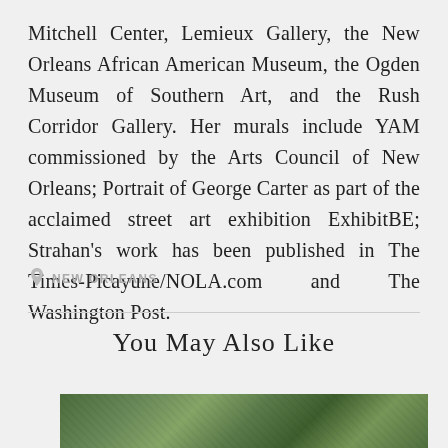Mitchell Center, Lemieux Gallery, the New Orleans African American Museum, the Ogden Museum of Southern Art, and the Rush Corridor Gallery. Her murals include YAM commissioned by the Arts Council of New Orleans; Portrait of George Carter as part of the acclaimed street art exhibition ExhibitBE; Strahan's work has been published in The Times-Picayune/NOLA.com and The Washington Post.
NEW ORLEANS
You May Also Like
[Figure (photo): A partial photo showing what appears to be a colorful, nature-themed artwork or mural with green tones.]